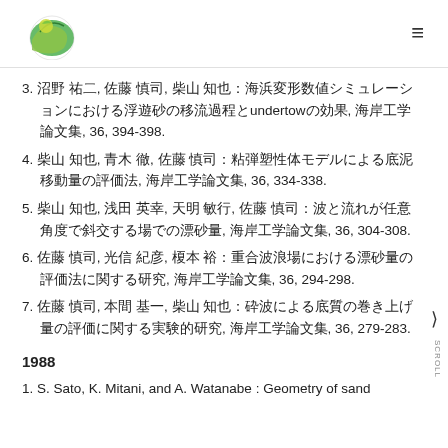[Logo and navigation menu]
3. 沼野 祐二, 佐藤 慎司, 柴山 知也：海浜変形数値シミュレーションにおける浮遊砂の移流過程とundertowの効果, 海岸工学論文集, 36, 394-398.
4. 柴山 知也, 青木 徹, 佐藤 慎司：粘弾塑性体モデルによる底泥移動量の評価法, 海岸工学論文集, 36, 334-338.
5. 柴山 知也, 浅田 英幸, 天明 敏行, 佐藤 慎司：波と流れが任意角度で斜交する場での漂砂量, 海岸工学論文集, 36, 304-308.
6. 佐藤 慎司, 光信 紀彦, 榎本 裕：重合波浪場における漂砂量の評価法に関する研究, 海岸工学論文集, 36, 294-298.
7. 佐藤 慎司, 本間 基一, 柴山 知也：砕波による底質の巻き上げ量の評価に関する実験的研究, 海岸工学論文集, 36, 279-283.
1988
1. S. Sato, K. Mitani, and A. Watanabe : Geometry of sand